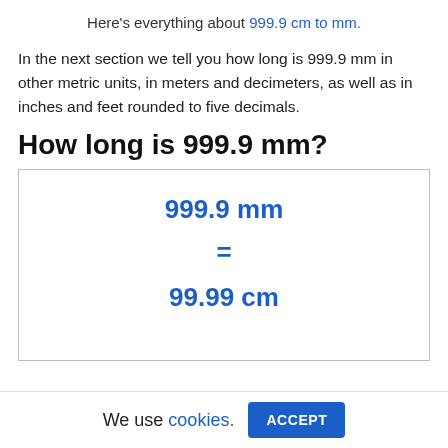Here's everything about 999.9 cm to mm.
In the next section we tell you how long is 999.9 mm in other metric units, in meters and decimeters, as well as in inches and feet rounded to five decimals.
How long is 999.9 mm?
| 999.9 mm |
| = |
| 99.99 cm |
We use cookies.  ACCEPT